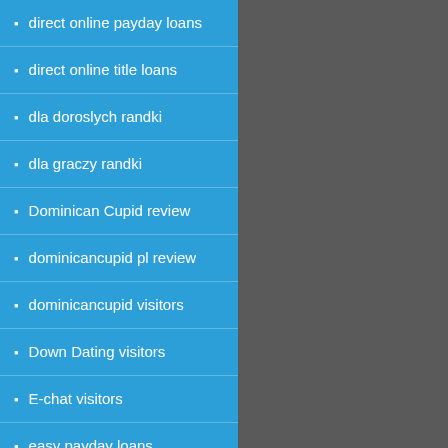direct online payday loans
direct online title loans
dla doroslych randki
dla graczy randki
Dominican Cupid review
dominicancupid pl review
dominicancupid visitors
Down Dating visitors
E-chat visitors
easy payday loans
easy title loans
echat review
Edmonton+Canada hookup sites